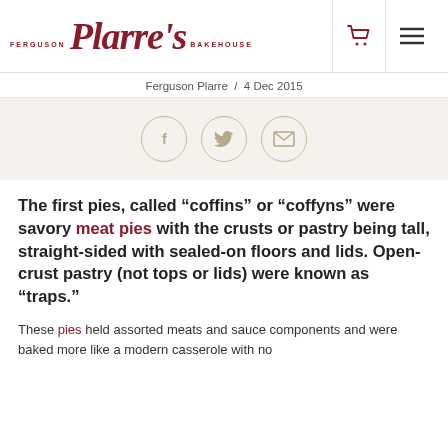[Figure (logo): Ferguson Plarre's Bakehouse logo — script text in dark red with FERGUSON and BAKEHOUSE in small caps flanking the cursive Plarre's]
Ferguson Plarre / 4 Dec 2015
[Figure (infographic): Three circular social share icons: Facebook (f), Twitter (bird), Email (envelope) on a beige background]
The first pies, called “coffins” or “coffyns” were savory meat pies with the crusts or pastry being tall, straight-sided with sealed-on floors and lids. Open-crust pastry (not tops or lids) were known as “traps.”
These pies held assorted meats and sauce components and were baked more like a modern casserole with no